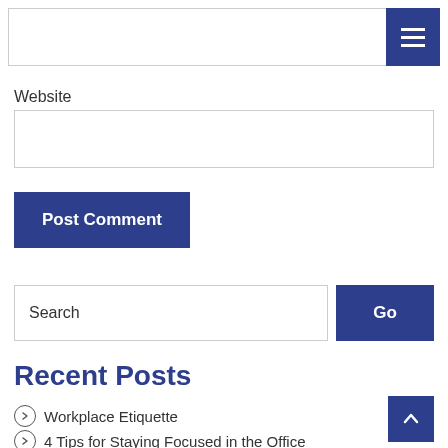[Figure (screenshot): Navigation bar with hamburger menu icon (three horizontal lines) on dark blue background]
Website
[Figure (screenshot): Website text input field, empty]
[Figure (screenshot): Post Comment button, dark blue background with white bold text]
[Figure (screenshot): Search input field with placeholder text 'Search' and a 'Go' button on dark blue background]
Recent Posts
Workplace Etiquette
4 Tips for Staying Focused in the Office